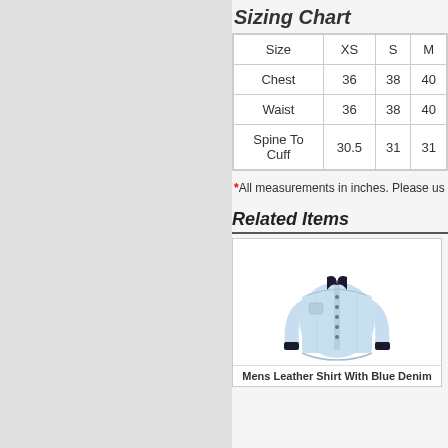Sizing Chart
| Size | XS | S | M |
| --- | --- | --- | --- |
| Chest | 36 | 38 | 40 |
| Waist | 36 | 38 | 40 |
| Spine To Cuff | 30.5 | 31 | 31 |
*All measurements in inches. Please us…
Related Items
[Figure (photo): Mens Leather Shirt With Blue Denim — a light blue long-sleeve button-up shirt product photo]
Mens Leather Shirt With Blue Denim